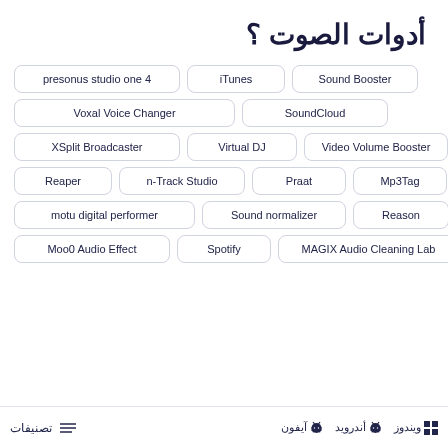أدوات الصوت
presonus studio one 4
iTunes
Sound Booster
Voxal Voice Changer
SoundCloud
XSplit Broadcaster
Virtual DJ
Video Volume Booster
Reaper
n-Track Studio
Praat
Mp3Tag
motu digital performer
Sound normalizer
Reason
Moo0 Audio Effect
Spotify
MAGIX Audio Cleaning Lab
تصنيفات  ويندوز  أندرويد  آيفون